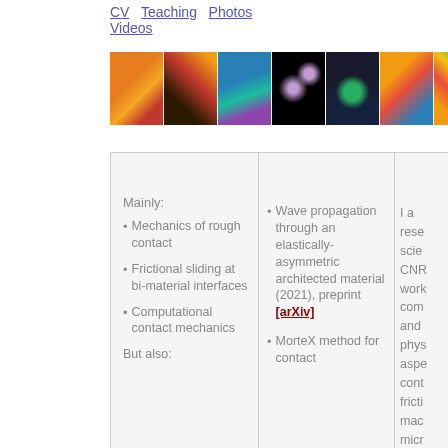CV  Teaching  Photos  Videos
[Figure (photo): Strip of 7 colorful scientific simulation images showing wave patterns, contact mechanics, and material interfaces]
Mainly:
Mechanics of rough contact
Frictional sliding at bi-material interfaces
Computational contact mechanics
But also:
Wave propagation through an elastically-asymmetric architected material (2021), preprint [arXiv]
MorteX method for contact
I a rese scie CNR work com and phys aspe cont fricti mac micr